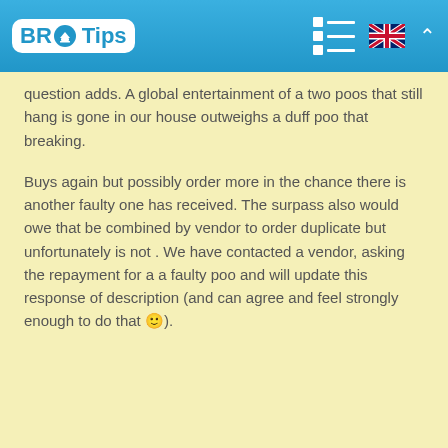BR Tips
question adds. A global entertainment of a two poos that still hang is gone in our house outweighs a duff poo that breaking.
Buys again but possibly order more in the chance there is another faulty one has received. The surpass also would owe that be combined by vendor to order duplicate but unfortunately is not . We have contacted a vendor, asking the repayment for a a faulty poo and will update this response of description (and can agree and feel strongly enough to do that 🙂).